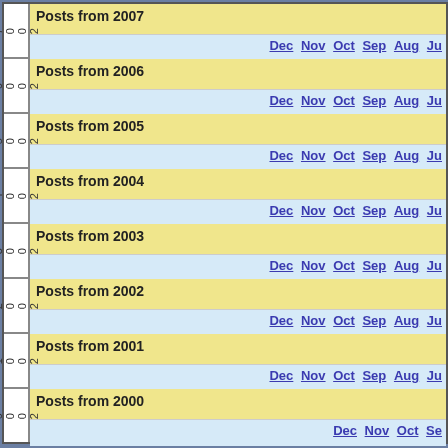| Year | Title | Months |
| --- | --- | --- |
| 2007 | Posts from 2007 | Dec Nov Oct Sep Aug Ju... |
| 2006 | Posts from 2006 | Dec Nov Oct Sep Aug Ju... |
| 2005 | Posts from 2005 | Dec Nov Oct Sep Aug Ju... |
| 2004 | Posts from 2004 | Dec Nov Oct Sep Aug Ju... |
| 2003 | Posts from 2003 | Dec Nov Oct Sep Aug Ju... |
| 2002 | Posts from 2002 | Dec Nov Oct Sep Aug Ju... |
| 2001 | Posts from 2001 | Dec Nov Oct Sep Aug Ju... |
| 2000 | Posts from 2000 | Dec Nov Oct Se... |